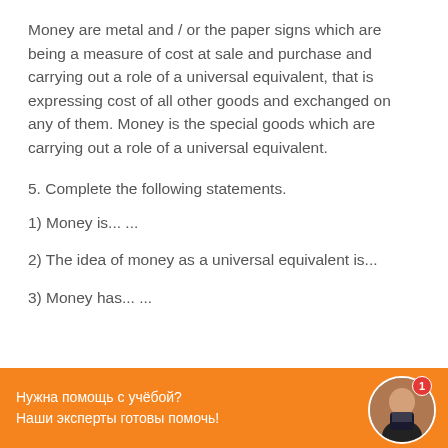Money are metal and / or the paper signs which are being a measure of cost at sale and purchase and carrying out a role of a universal equivalent, that is expressing cost of all other goods and exchanged on any of them. Money is the special goods which are carrying out a role of a universal equivalent.
5. Complete the following statements.
1) Money is... ...
2) The idea of money as a universal equivalent is...
3) Money has... ...
Нужна помощь с учёбой?
Наши эксперты готовы помочь!